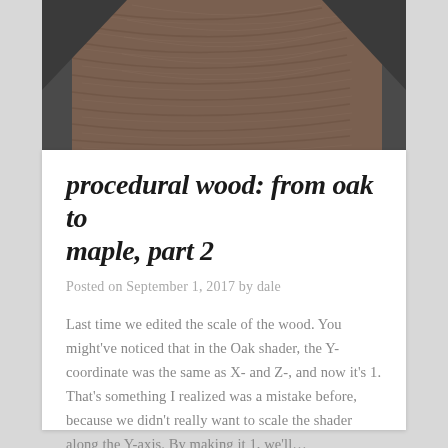[Figure (illustration): Wood texture image showing brown wood grain with dark gray triangular corner sections visible at left and right edges, top portion of the card.]
procedural wood: from oak to maple, part 2
Posted on September 1, 2017 by dale
Last time we edited the scale of the wood. You might've noticed that in the Oak shader, the Y-coordinate was the same as X- and Z-, and now it's 1.  That's something I realized was a mistake before, because we didn't really want to scale the shader along the Y-axis.  By making it 1, we'll…